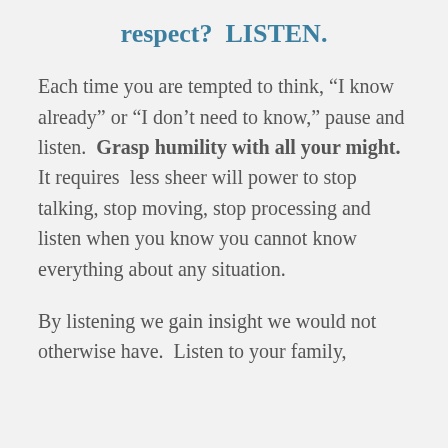respect?  LISTEN.
Each time you are tempted to think, “I know already” or “I don’t need to know,” pause and listen.  Grasp humility with all your might. It requires  less sheer will power to stop talking, stop moving, stop processing and listen when you know you cannot know everything about any situation.
By listening we gain insight we would not otherwise have.  Listen to your family,